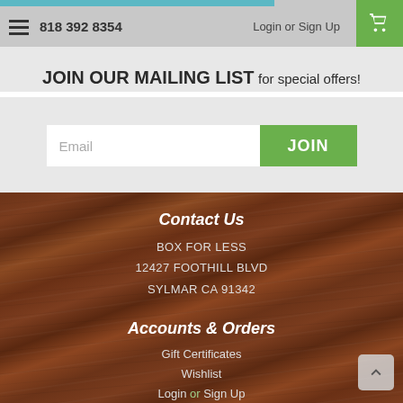818 392 8354 | Login or Sign Up
JOIN OUR MAILING LIST for special offers!
Email [JOIN button]
Contact Us
BOX FOR LESS
12427 FOOTHILL BLVD
SYLMAR CA 91342
Accounts & Orders
Gift Certificates
Wishlist
Login or Sign Up
Order Status
Shipping & Returns
Sitemap